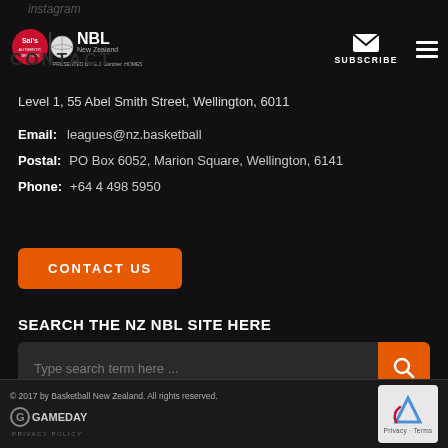instagram
[Figure (logo): Sal's NBL New Zealand presented by G.J. Gardner Homes logo]
[Figure (infographic): Subscribe envelope icon with SUBSCRIBE text and hamburger menu icon]
Level 1, 55 Abel Smith Street, Wellington, 6011
Email: leagues@nz.basketball
Postal: PO Box 6052, Marion Square, Wellington, 6141
Phone: +64 4 498 5950
CONTACT US
SEARCH THE NZ NBL SITE HERE
Type search term here ...
© 2017 by Basketball New Zealand. All rights reserved.
[Figure (logo): Gameday logo with PRIVACY POLICY text]
[Figure (other): reCAPTCHA widget with Privacy and Terms links]